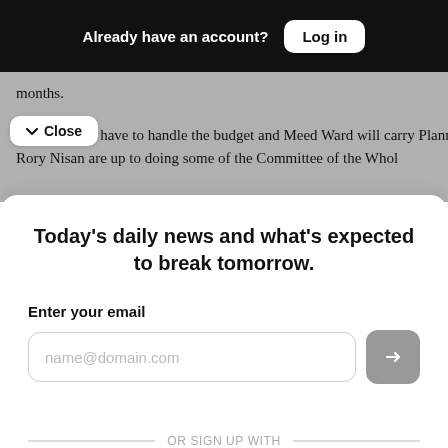Already have an account? Log in
months.
Sharman will have to handle the budget and Meed Ward will carry Planning Rory Nisan are up to doing some of the Committee of the Whol
Close
Today's daily news and what's expected to break tomorrow.
Enter your email
name@domain.com
OR SIGN UP WITH